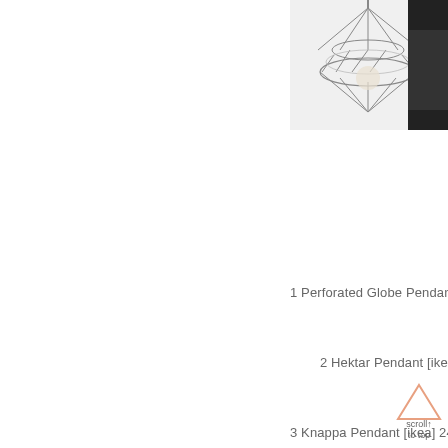[Figure (photo): Geometric cage pendant light in chrome/silver wire frame, diamond shape, photographed on white background]
[Figure (photo): Dark sofa or furniture piece partially visible, cropped at right edge]
1 Perforated Globe Pendant [west el...
2 Hektar Pendant [ikea] 69.99 >>>
3 Knappa Pendant [ikea] 24.99 <-ev...
4 Alyson Fox Drum Pendant [west e...
5. Cage Chrome Pendan...